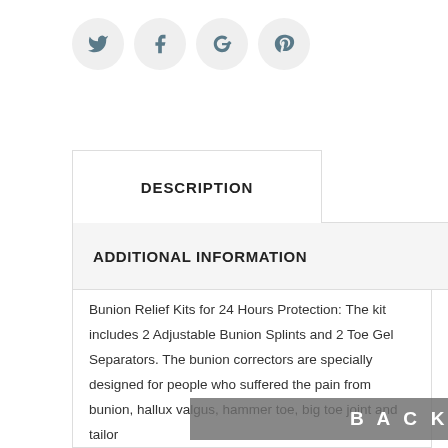[Figure (other): Social media icon buttons: Twitter bird icon, Facebook f icon, Google+ icon, Pinterest p icon — all circular grey buttons]
DESCRIPTION
ADDITIONAL INFORMATION
Bunion Relief Kits for 24 Hours Protection: The kit includes 2 Adjustable Bunion Splints and 2 Toe Gel Separators. The bunion correctors are specially designed for people who suffered the pain from bunion, hallux valgus, hammer toe, big toe joint and tailor
B a c k t o t o p